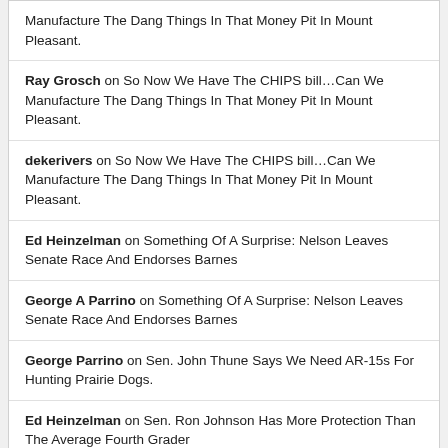Manufacture The Dang Things In That Money Pit In Mount Pleasant.
Ray Grosch on So Now We Have The CHIPS bill…Can We Manufacture The Dang Things In That Money Pit In Mount Pleasant.
dekerivers on So Now We Have The CHIPS bill…Can We Manufacture The Dang Things In That Money Pit In Mount Pleasant.
Ed Heinzelman on Something Of A Surprise: Nelson Leaves Senate Race And Endorses Barnes
George A Parrino on Something Of A Surprise: Nelson Leaves Senate Race And Endorses Barnes
George Parrino on Sen. John Thune Says We Need AR-15s For Hunting Prairie Dogs.
Ed Heinzelman on Sen. Ron Johnson Has More Protection Than The Average Fourth Grader
OUR BLOGROLL
An Intuitive Perspective